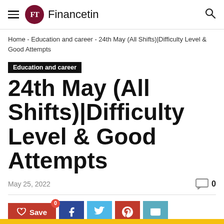FT Financetin
Home - Education and career - 24th May (All Shifts)|Difficulty Level & Good Attempts
Education and career
24th May (All Shifts)|Difficulty Level & Good Attempts
May 25, 2022
0